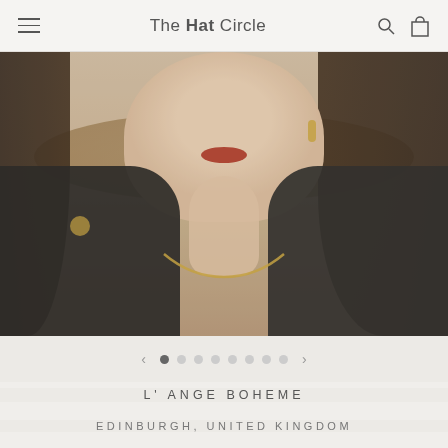The Hat Circle
[Figure (photo): Close-up photo of a woman wearing a dark velvet jacket with gold brooch, gold chain necklace, gold earrings, and red lipstick. She has dark hair and appears to be wearing or near a hat. The image has a muted, vintage tone.]
L' ANGE BOHEME
EDINBURGH, UNITED KINGDOM